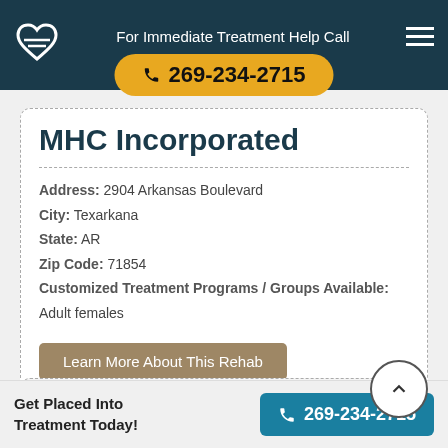For Immediate Treatment Help Call 269-234-2715
MHC Incorporated
Address: 2904 Arkansas Boulevard
City: Texarkana
State: AR
Zip Code: 71854
Customized Treatment Programs / Groups Available:
Adult females
Learn More About This Rehab
Get Placed Into Treatment Today! 269-234-2715